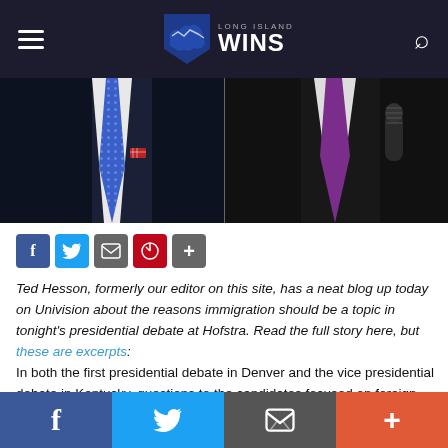Long Island WINS
[Figure (photo): Two men in suits with ties — left figure in blue dotted tie, right figure in purple tie holding microphone — cropped from chest/neck area]
[Figure (infographic): Social share buttons: Facebook (blue), Twitter (light blue), Email (gray), Pinterest (red), More (gray plus)]
Ted Hesson, formerly our editor on this site, has a neat blog up today on Univision about the reasons immigration should be a topic in tonight's presidential debate at Hofstra. Read the full story here, but these are excerpts:
In both the first presidential debate in Denver and the vice presidential debate in Kentucky, questions to the candidates focused on foreign policy, the economy and healthcare.
Immigration—a central topic in two Univision candidate forums
Facebook | Twitter | Email | More